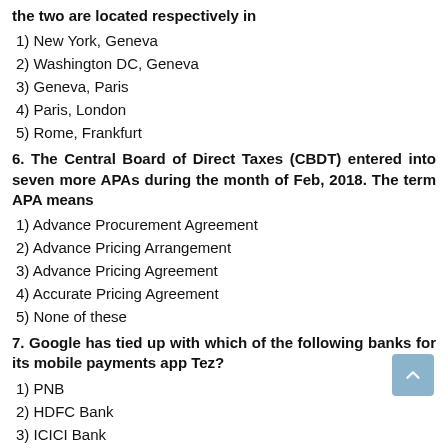the two are located respectively in
1) New York, Geneva
2) Washington DC, Geneva
3) Geneva, Paris
4) Paris, London
5) Rome, Frankfurt
6. The Central Board of Direct Taxes (CBDT) entered into seven more APAs during the month of Feb, 2018. The term APA means
1) Advance Procurement Agreement
2) Advance Pricing Arrangement
3) Advance Pricing Agreement
4) Accurate Pricing Agreement
5) None of these
7. Google has tied up with which of the following banks for its mobile payments app Tez?
1) PNB
2) HDFC Bank
3) ICICI Bank
4) State Bank of India